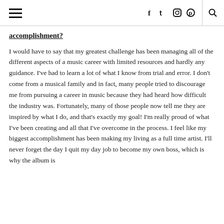≡  f  t  ⊙  p  🔍
accomplishment?
I would have to say that my greatest challenge has been managing all of the different aspects of a music career with limited resources and hardly any guidance. I've had to learn a lot of what I know from trial and error. I don't come from a musical family and in fact, many people tried to discourage me from pursuing a career in music because they had heard how difficult the industry was. Fortunately, many of those people now tell me they are inspired by what I do, and that's exactly my goal! I'm really proud of what I've been creating and all that I've overcome in the process. I feel like my biggest accomplishment has been making my living as a full time artist. I'll never forget the day I quit my day job to become my own boss, which is why the album is